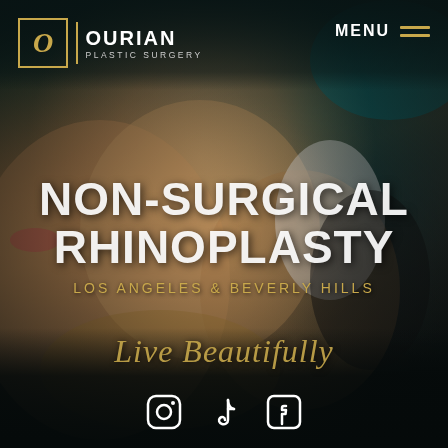[Figure (photo): Background photo of a woman in a black and white swimsuit lying down, used as a decorative background for a plastic surgery clinic advertisement]
OURIAN PLASTIC SURGERY | MENU
NON-SURGICAL RHINOPLASTY
LOS ANGELES & BEVERLY HILLS
Live Beautifully
[Figure (infographic): Social media icons: Instagram, TikTok, Facebook]